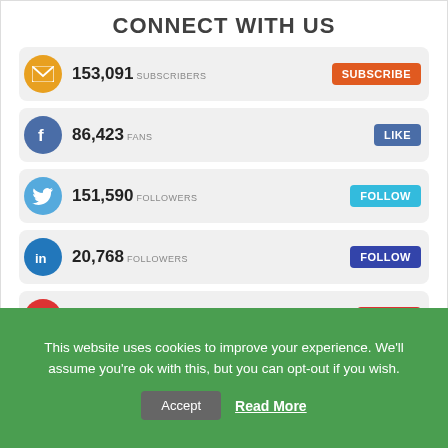CONNECT WITH US
[Figure (infographic): Social media connect widget showing subscriber/follower counts for Email (153,091 subscribers), Facebook (86,423 fans), Twitter (151,590 followers), LinkedIn (20,768 followers), Google+ (11,840 in circles), YouTube (5,138 — partially visible). Each row has a colored circle icon, count, label, and action button.]
This website uses cookies to improve your experience. We'll assume you're ok with this, but you can opt-out if you wish.
Accept   Read More